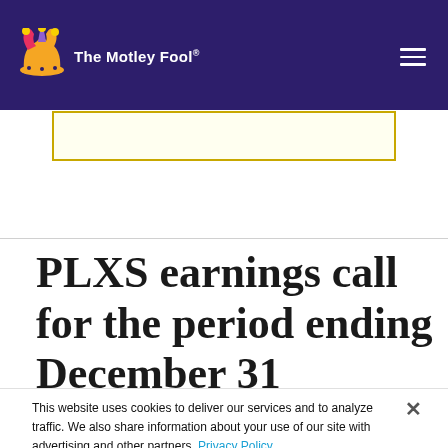The Motley Fool
[Figure (screenshot): Partially visible yellow notification or subscription box with border]
PLXS earnings call for the period ending December 31
This website uses cookies to deliver our services and to analyze traffic. We also share information about your use of our site with advertising and other partners. Privacy Policy
Got it
Cookie Settings